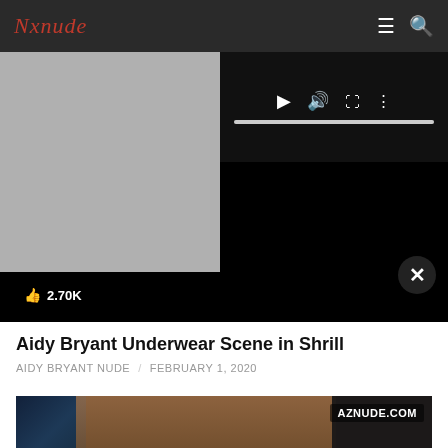Nxnude
[Figure (screenshot): Video player showing a gray thumbnail on the left and playback controls (play, volume, fullscreen, more) on the right with a progress bar. A like badge shows 2.70K and a close button is visible.]
Aidy Bryant Underwear Scene in Shrill
AIDY BRYANT NUDE  /  FEBRUARY 1, 2020
[Figure (photo): A scene still from the TV show Shrill showing a bearded man in a yellow t-shirt and a woman with long hair sitting at a table in a warmly lit room with brick walls and blue LED lights in the background. AZNUDE.COM watermark is in the top right corner.]